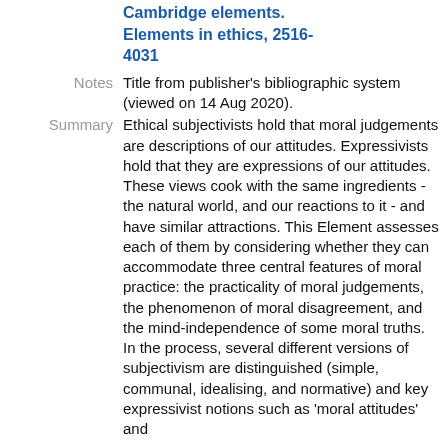Cambridge elements. Elements in ethics, 2516-4031
Notes: Title from publisher's bibliographic system (viewed on 14 Aug 2020).
Summary: Ethical subjectivists hold that moral judgements are descriptions of our attitudes. Expressivists hold that they are expressions of our attitudes. These views cook with the same ingredients - the natural world, and our reactions to it - and have similar attractions. This Element assesses each of them by considering whether they can accommodate three central features of moral practice: the practicality of moral judgements, the phenomenon of moral disagreement, and the mind-independence of some moral truths. In the process, several different versions of subjectivism are distinguished (simple, communal, idealising, and normative) and key expressivist notions such as 'moral attitudes' and